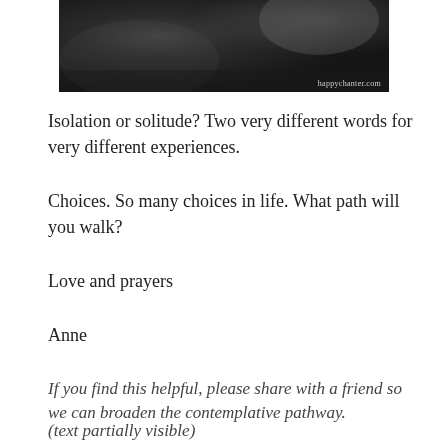[Figure (photo): Dark atmospheric landscape photo with watermark 'happychanter.com' in bottom right corner]
Isolation or solitude? Two very different words for very different experiences.
Choices. So many choices in life. What path will you walk?
Love and prayers
Anne
If you find this helpful, please share with a friend so we can broaden the contemplative pathway.
(partially cut off at bottom)